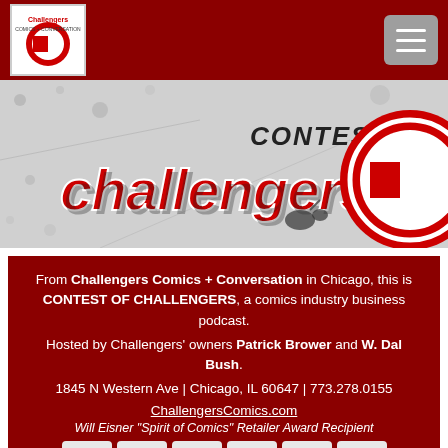[Figure (logo): Challengers Comics logo in top nav bar]
[Figure (illustration): Contest of Challengers podcast banner with stylized text and logo]
From Challengers Comics + Conversation in Chicago, this is CONTEST OF CHALLENGERS, a comics industry business podcast. Hosted by Challengers' owners Patrick Brower and W. Dal Bush. 1845 N Western Ave | Chicago, IL 60647 | 773.278.0155 ChallengersComics.com Will Eisner "Spirit of Comics" Retailer Award Recipient
[Figure (other): Social media icon buttons: Facebook, Twitter, RSS, Podchaser, Podcast, Spotify, and partial bottom row]